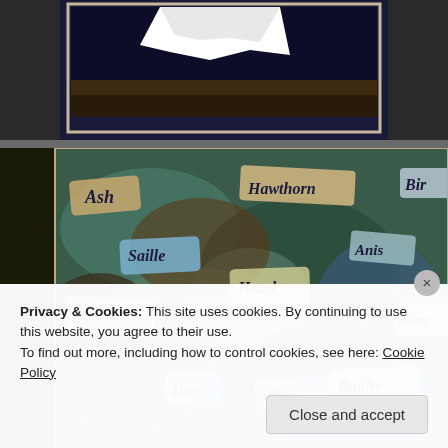[Figure (photo): Top partial image showing a torn white paper against a dark blue/black background]
[Figure (photo): Artwork showing pieces of paper or fabric with tree names written in old English calligraphic script: Hawthorn, Ash, Birch, Saille, Anis, Hazel, Rowan, Nion, Baithe, Dur, Willow — arranged on a textured blue-green-brown background]
Privacy & Cookies: This site uses cookies. By continuing to use this website, you agree to their use.
To find out more, including how to control cookies, see here: Cookie Policy
Close and accept